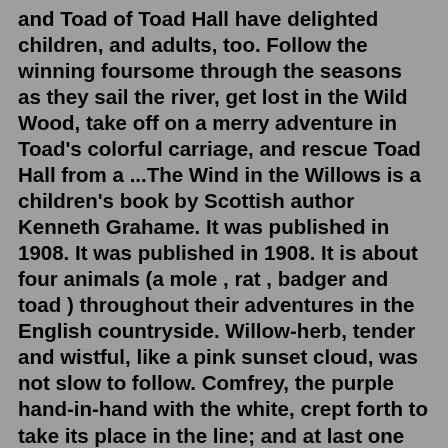and Toad of Toad Hall have delighted children, and adults, too. Follow the winning foursome through the seasons as they sail the river, get lost in the Wild Wood, take off on a merry adventure in Toad's colorful carriage, and rescue Toad Hall from a ...The Wind in the Willows is a children's book by Scottish author Kenneth Grahame. It was published in 1908. It was published in 1908. It is about four animals (a mole , rat , badger and toad ) throughout their adventures in the English countryside. Willow-herb, tender and wistful, like a pink sunset cloud, was not slow to follow. Comfrey, the purple hand-in-hand with the white, crept forth to take its place in the line; and at last one morning the diffident and delaying dog-rose stepped delicately on the stage, and one knew, as if string-music had announced it in stately chords that ... The Wind in the Willows, book of linked animal tales by British writer Kenneth Grahame that began as a series of bedtime stories for his son and was published in 1908. The beautifully written work, with its evocative descriptions of the